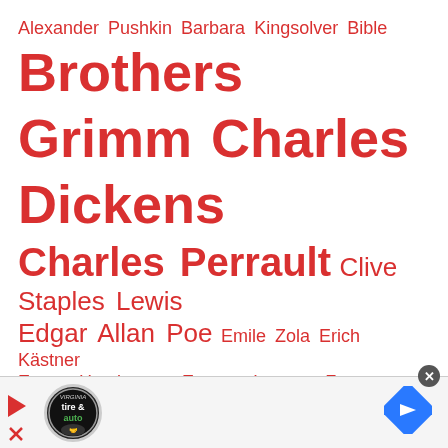Alexander Pushkin Barbara Kingsolver Bible Brothers Grimm Charles Dickens Charles Perrault Clive Staples Lewis Edgar Allan Poe Emile Zola Erich Kästner Ernest Hemingway Eugene Ionesco Franz Kafka François Rabelais Fyodor Dostoevsky Gabriel García Márquez Guy de Maupassant Hans Christian Andersen Jane Austen Joseph Jacobs Leo Tolstoy Mark
[Figure (infographic): Advertisement banner with Virginia Tire & Auto logo, play/close buttons, and a blue navigation arrow icon]